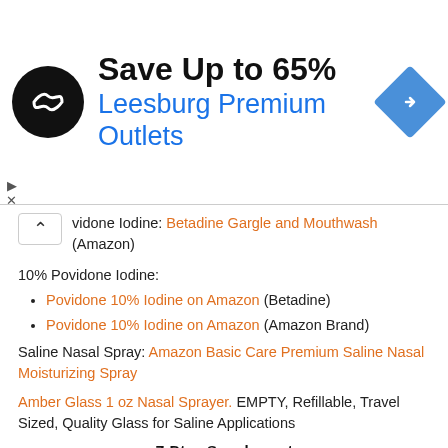[Figure (screenshot): Advertisement banner: black circular logo with white infinity-like symbol, text 'Save Up to 65%' and 'Leesburg Premium Outlets' in blue, blue diamond navigation icon on right, small play and X icons on left corner]
vidone Iodine: Betadine Gargle and Mouthwash (Amazon)
10% Povidone Iodine:
Povidone 10% Iodine on Amazon (Betadine)
Povidone 10% Iodine on Amazon (Amazon Brand)
Saline Nasal Spray: Amazon Basic Care Premium Saline Nasal Moisturizing Spray
Amber Glass 1 oz Nasal Sprayer. EMPTY, Refillable, Travel Sized, Quality Glass for Saline Applications
Z-Dtox Supplement